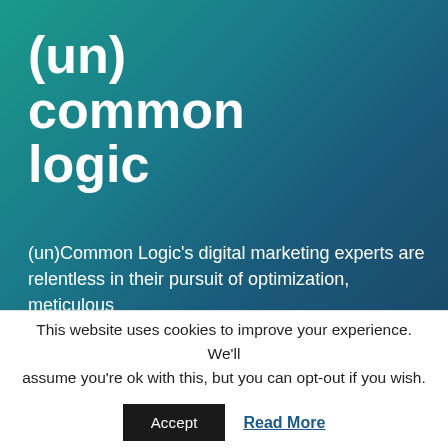[Figure (logo): (un)common logic company logo — large bold white text on teal-to-dark-blue gradient background]
(un)Common Logic's digital marketing experts are relentless in their pursuit of optimization, meticulous
This website uses cookies to improve your experience. We'll assume you're ok with this, but you can opt-out if you wish.
Accept   Read More